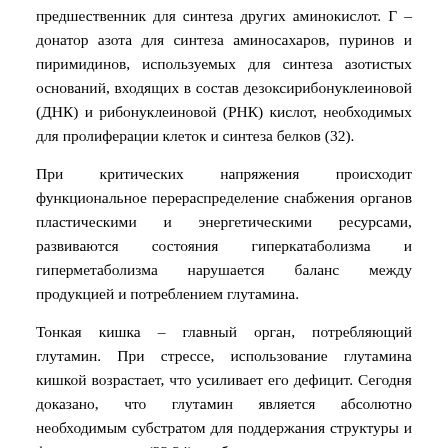предшественник для синтеза других аминокислот. Г – донатор азота для синтеза аминосахаров, пуринов и пиримидинов, используемых для синтеза азотистых оснований, входящих в состав дезоксирибонуклеиновой (ДНК) и рибонуклеиновой (РНК) кислот, необходимых для пролиферации клеток и синтеза белков (32).
При критических напряжения происходит функциональное перераспределение снабжения органов пластическими и энергетическими ресурсами, развиваются состояния гиперкатаболизма и гиперметаболизма нарушается баланс между продукцией и потреблением глутамина.
Тонкая кишка – главный орган, потребляющий глутамин. При стрессе, использование глутамина кишкой возрастает, что усиливает его дефицит. Сегодня доказано, что глутамин является абсолютно необходимым субстратом для поддержания структуры и функции кишки (33,34) особенно при состояниях, когда происходит повреждение слизистой